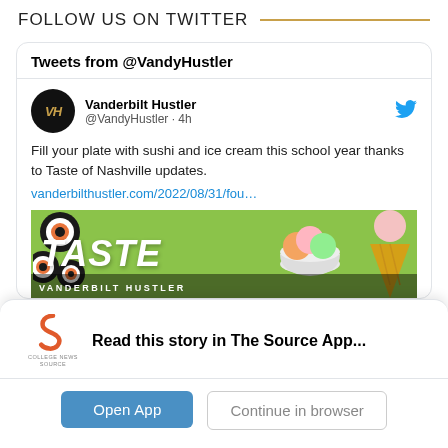FOLLOW US ON TWITTER
[Figure (screenshot): Twitter widget showing Tweets from @VandyHustler. A tweet by Vanderbilt Hustler (@VandyHustler · 4h) reads: Fill your plate with sushi and ice cream this school year thanks to Taste of Nashville updates. vanderbilthustler.com/2022/08/31/fou… with a food image below.]
Read this story in The Source App...
Open App
Continue in browser